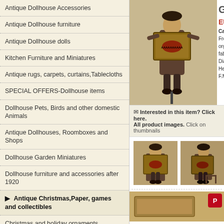Antique Dollhouse Accessories
Antique Dollhouse furniture
Antique Dollhouse dolls
Kitchen Furniture and Miniatures
Antique rugs, carpets, curtains,Tablecloths
SPECIAL OFFERS-Dollhouse items
Dollhouse Pets, Birds and other domestic Animals
Antique Dollhouses, Roomboxes and Shops
Dollhouse Garden Miniatures
Dollhouse furniture and accessories after 1920
▶ Antique Christmas,Paper, games and collectibles
Christmas and holiday ornaments
Old Advertising items
Other tin collectibles
Candy containers
Antique Games
[Figure (photo): Antique tin toy figure of a man carrying a box/crate, vintage collectible]
G EU Cat: Fre org fab Dia Hea F.M
✉ Interested in this item? Click here. All product images. Click on thumbnails
[Figure (photo): Thumbnail of antique tin toy figure, front view]
[Figure (photo): Thumbnail of antique tin toy figure, side view]
[Figure (photo): Bottom product image, partially visible]